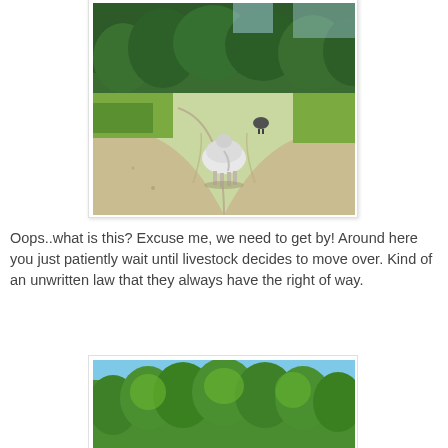[Figure (photo): A cow walking away from the camera on a sandy dirt road through a forested area. A second animal is visible further down the road. Trees and green vegetation line both sides of the road.]
Oops..what is this? Excuse me, we need to get by! Around here you just patiently wait until livestock decides to move over. Kind of an unwritten law that they always have the right of way.
[Figure (photo): A dense forest of tall green trees with a blue sky visible at the top. The canopy is lush and full.]